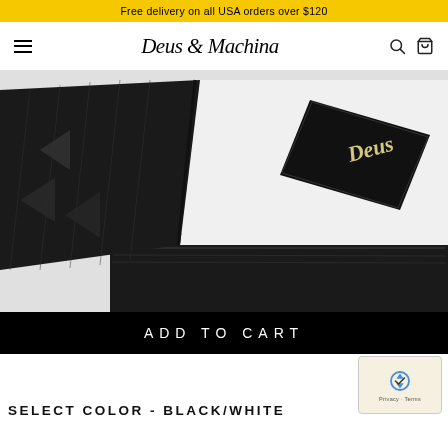Free delivery on all USA orders over $120
[Figure (logo): Deus Ex Machina cursive logo in navbar]
[Figure (photo): Close-up product photo of a black and white Deus Ex Machina trucker cap with black brim and mesh sides, featuring a Deus patch logo on the front panel]
ADD TO CART
SELECT COLOR - BLACK/WHITE